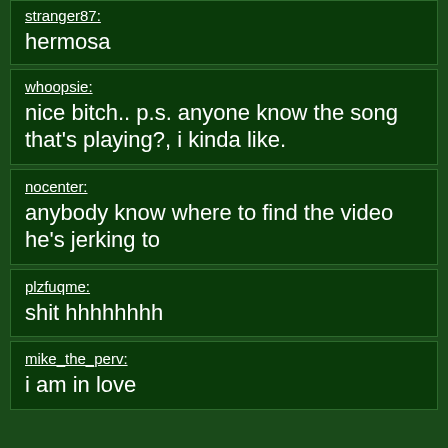stranger87: hermosa
whoopsie: nice bitch.. p.s. anyone know the song that's playing?, i kinda like.
nocenter: anybody know where to find the video he's jerking to
plzfuqme: shit hhhhhhhh
mike_the_perv: i am in love